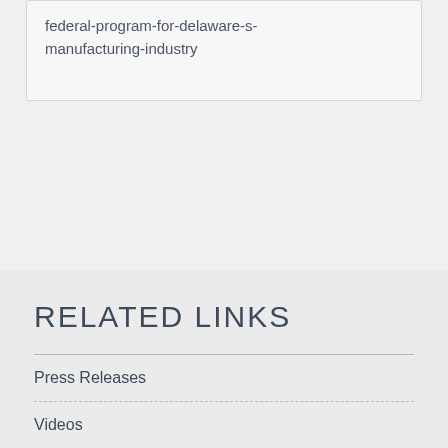federal-program-for-delaware-s-manufacturing-industry
RELATED LINKS
Press Releases
Videos